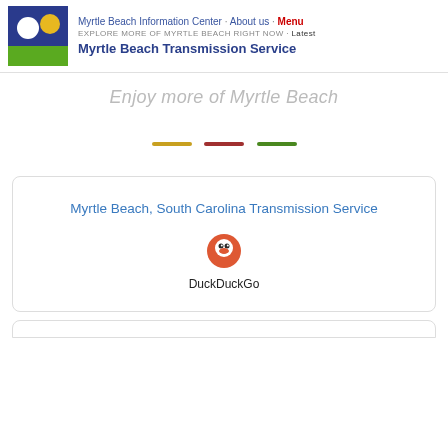Myrtle Beach Information Center · About us · Menu | EXPLORE MORE OF MYRTLE BEACH RIGHT NOW · Latest | Myrtle Beach Transmission Service
Enjoy more of Myrtle Beach
[Figure (other): Three decorative horizontal lines in yellow, red, and green colors]
Myrtle Beach, South Carolina Transmission Service
[Figure (logo): DuckDuckGo logo icon — orange circle with duck silhouette]
DuckDuckGo